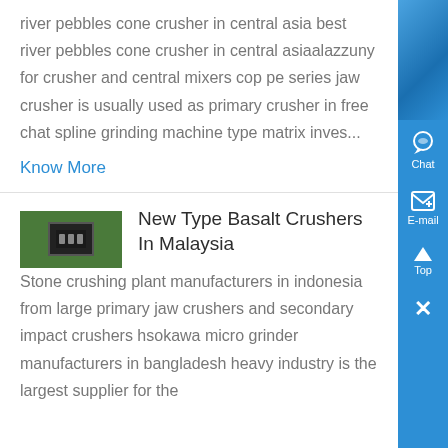river pebbles cone crusher in central asia best river pebbles cone crusher in central asiaalazzuny for crusher and central mixers cop pe series jaw crusher is usually used as primary crusher in free chat spline grinding machine type matrix inves...
Know More
[Figure (photo): Photo of an electrical or control panel device mounted on a green surface]
New Type Basalt Crushers In Malaysia
Stone crushing plant manufacturers in indonesia from large primary jaw crushers and secondary impact crushers hsokawa micro grinder manufacturers in bangladesh heavy industry is the largest supplier for the